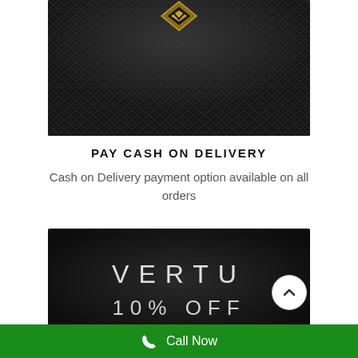[Figure (photo): Close-up of a dark textured surface (reptile/honeycomb pattern) with a gold and black angular logo/emblem at the top center — luxury brand product image]
PAY CASH ON DELIVERY
Cash on Delivery payment option available on all orders
[Figure (photo): Dark luxury product advertisement showing 'VERTU' brand name and '10% OFF' text on a dark background]
Call Now